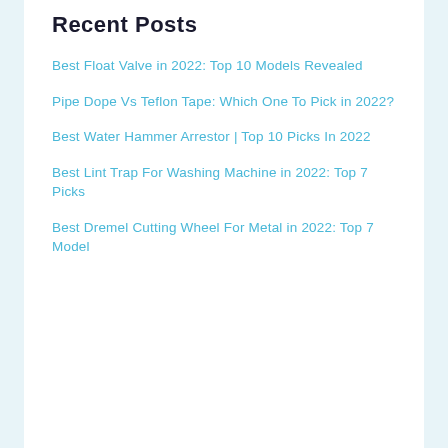Recent Posts
Best Float Valve in 2022: Top 10 Models Revealed
Pipe Dope Vs Teflon Tape: Which One To Pick in 2022?
Best Water Hammer Arrestor | Top 10 Picks In 2022
Best Lint Trap For Washing Machine in 2022: Top 7 Picks
Best Dremel Cutting Wheel For Metal in 2022: Top 7 Model